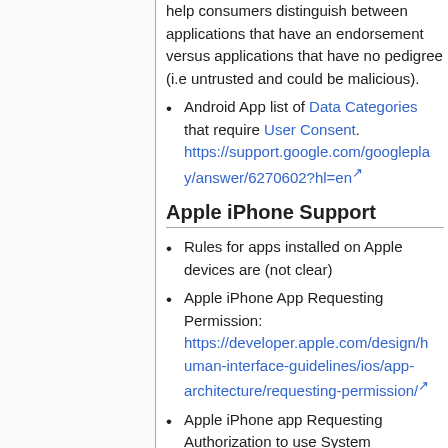help consumers distinguish between applications that have an endorsement versus applications that have no pedigree (i.e untrusted and could be malicious).
Android App list of Data Categories that require User Consent. https://support.google.com/googleplay/answer/6270602?hl=en
Apple iPhone Support
Rules for apps installed on Apple devices are (not clear)
Apple iPhone App Requesting Permission: https://developer.apple.com/design/human-interface-guidelines/ios/app-architecture/requesting-permission/
Apple iPhone app Requesting Authorization to use System